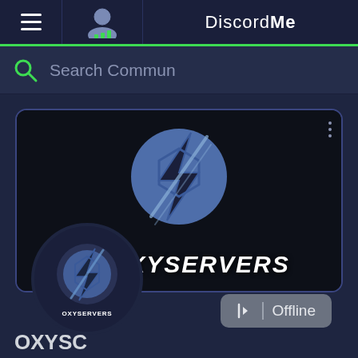[Figure (screenshot): Discord.me website screenshot showing navigation bar with hamburger menu, person icon, and Discord.me logo text]
Search Commun
[Figure (logo): OxyServers Discord server card with banner showing lightning bolt S logo and OXYSERVERS text, circular avatar, and Offline button]
OXYSERVERS